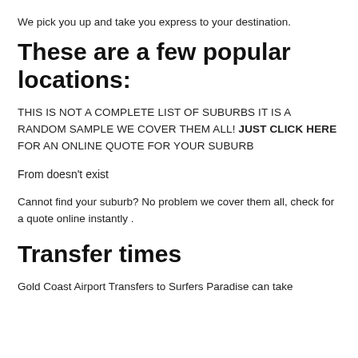We pick you up and take you express to your destination.
These are a few popular locations:
THIS IS NOT A COMPLETE LIST OF SUBURBS IT IS A RANDOM SAMPLE WE COVER THEM ALL! JUST CLICK HERE FOR AN ONLINE QUOTE FOR YOUR SUBURB
From doesn't exist
Cannot find your suburb? No problem we cover them all, check for a quote online instantly .
Transfer times
Gold Coast Airport Transfers to Surfers Paradise can take